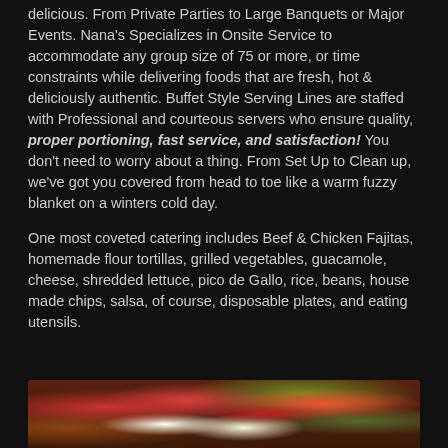delicious. From Private Parties to Large Banquets or Major Events. Nana's Specializes in Onsite Service to accommodate any group size of 75 or more, or time constraints while delivering foods that are fresh, hot & deliciously authentic. Buffet Style Serving Lines are staffed with Professional and courteous servers who ensure quality, proper portioning, fast service, and satisfaction! You don't need to worry about a thing. From Set Up to Clean up, we've got you covered from head to toe like a warm fuzzy blanket on a winters cold day.
One most coveted catering includes Beef & Chicken Fajitas, homemade flour tortillas, grilled vegetables, guacamole, cheese, shredded lettuce, pico de Gallo, rice, beans, house made chips, salsa, of course, disposable plates, and eating utensils.
[Figure (photo): Close-up photo of food items including what appears to be fajita ingredients: red tomatoes, white cheese or sour cream, and green herbs/vegetables.]